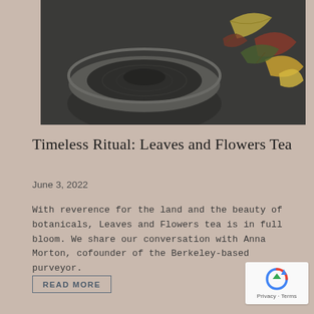[Figure (photo): A stone mortar bowl seen from above on a dark gray surface, with dried botanical leaves and flowers scattered to the right side]
Timeless Ritual: Leaves and Flowers Tea
June 3, 2022
With reverence for the land and the beauty of botanicals, Leaves and Flowers tea is in full bloom. We share our conversation with Anna Morton, cofounder of the Berkeley-based purveyor.
READ MORE